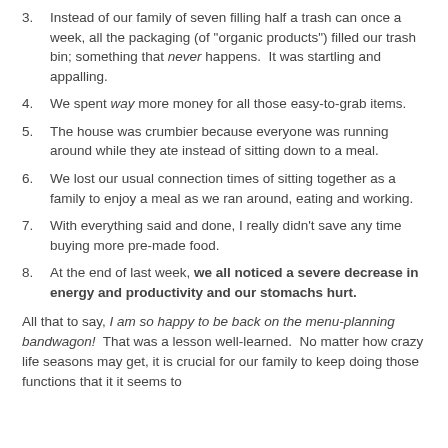3. Instead of our family of seven filling half a trash can once a week, all the packaging (of "organic products") filled our trash bin; something that never happens.  It was startling and appalling.
4. We spent way more money for all those easy-to-grab items.
5. The house was crumbier because everyone was running around while they ate instead of sitting down to a meal.
6. We lost our usual connection times of sitting together as a family to enjoy a meal as we ran around, eating and working.
7. With everything said and done, I really didn't save any time buying more pre-made food.
8. At the end of last week, we all noticed a severe decrease in energy and productivity and our stomachs hurt.
All that to say, I am so happy to be back on the menu-planning bandwagon!  That was a lesson well-learned.  No matter how crazy life seasons may get, it is crucial for our family to keep doing those functions that it it seems to